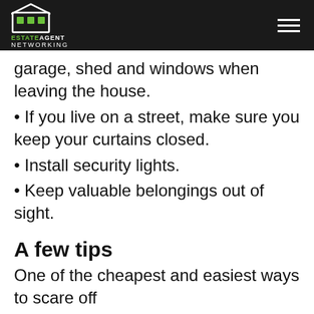Estate Agent Networking
garage, shed and windows when leaving the house.
If you live on a street, make sure you keep your curtains closed.
Install security lights.
Keep valuable belongings out of sight.
A few tips
One of the cheapest and easiest ways to scare off